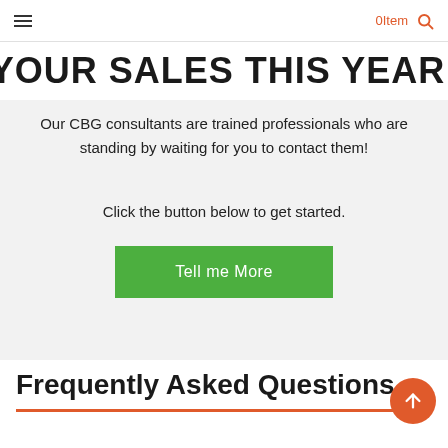≡  0Item 🔍
YOUR SALES THIS YEAR!
Our CBG consultants are trained professionals who are standing by waiting for you to contact them!
Click the button below to get started.
Tell me More
Frequently Asked Questions